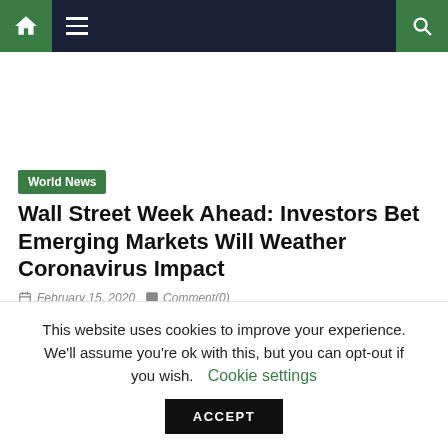Navigation bar with home icon, hamburger menu, and search icon
World News
Wall Street Week Ahead: Investors Bet Emerging Markets Will Weather Coronavirus Impact
February 15, 2020  Comment(0)
By April Joyner
This website uses cookies to improve your experience. We'll assume you're ok with this, but you can opt-out if you wish. Cookie settings ACCEPT